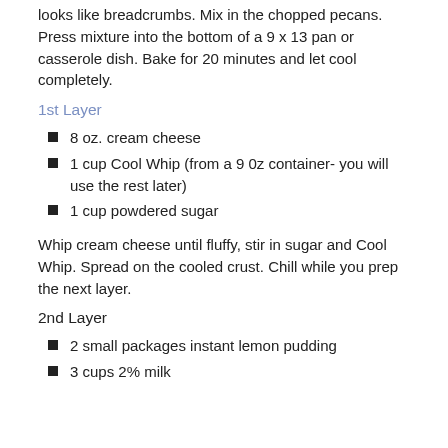looks like breadcrumbs.  Mix in the chopped pecans.  Press mixture into the bottom of a 9 x 13 pan or casserole dish.  Bake for 20 minutes and let cool completely.
1st Layer
8 oz. cream cheese
1 cup Cool Whip (from a 9 0z container- you will use the rest later)
1 cup powdered sugar
Whip cream cheese until fluffy, stir in sugar and Cool Whip.  Spread on the cooled crust.  Chill while you prep the next layer.
2nd Layer
2 small packages instant lemon pudding
3 cups 2% milk